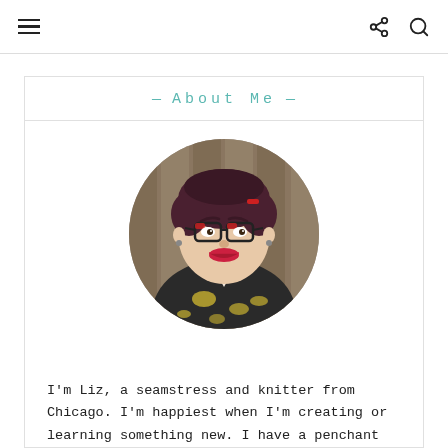≡  ⋮ 🔍
About Me
[Figure (photo): Circular portrait photo of a smiling woman with dark short hair, red-framed glasses, red lipstick, wearing a black and yellow patterned blouse, photographed in front of a wooden fence background.]
I'm Liz, a seamstress and knitter from Chicago. I'm happiest when I'm creating or learning something new. I have a penchant